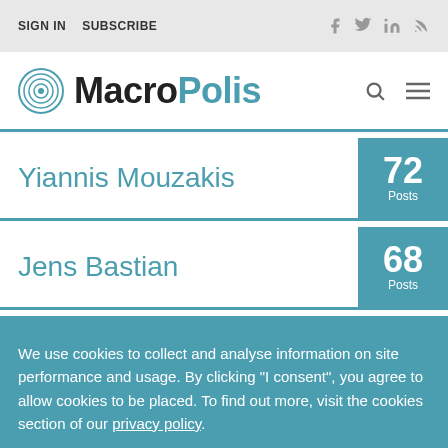SIGN IN  SUBSCRIBE
MacroPolis
Yiannis Mouzakis  72 Posts
Jens Bastian  68 Posts
We use cookies to collect and analyse information on site performance and usage. By clicking "I consent", you agree to allow cookies to be placed. To find out more, visit the cookies section of our privacy policy.